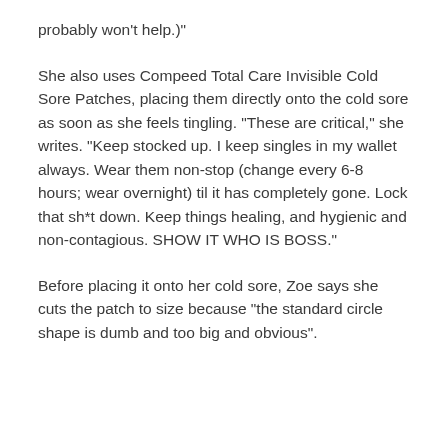probably won't help.)"
She also uses Compeed Total Care Invisible Cold Sore Patches, placing them directly onto the cold sore as soon as she feels tingling. “These are critical,” she writes. “Keep stocked up. I keep singles in my wallet always. Wear them non-stop (change every 6-8 hours; wear overnight) til it has completely gone. Lock that sh*t down. Keep things healing, and hygienic and non-contagious. SHOW IT WHO IS BOSS.”
Before placing it onto her cold sore, Zoe says she cuts the patch to size because “the standard circle shape is dumb and too big and obvious”.